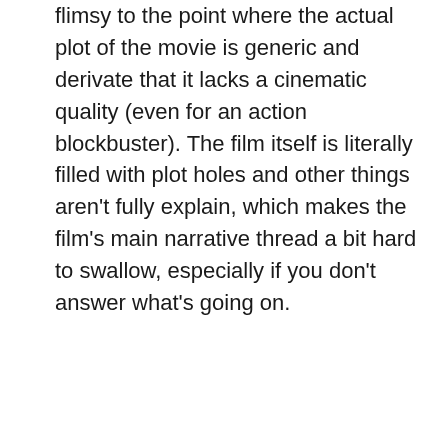flimsy to the point where the actual plot of the movie is generic and derivate that it lacks a cinematic quality (even for an action blockbuster). The film itself is literally filled with plot holes and other things aren't fully explain, which makes the film's main narrative thread a bit hard to swallow, especially if you don't answer what's going on.